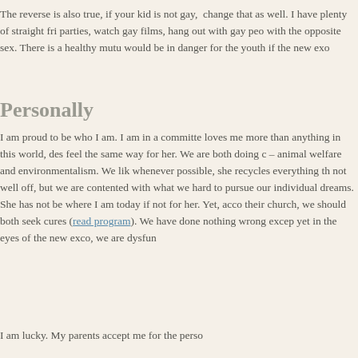The reverse is also true, if your kid is not gay, reading gay content will not change that as well. I have plenty of straight friends who attend gay parties, watch gay films, hang out with gay people and still ended up with the opposite sex. There is a healthy mutual respect. None of that would be in danger for the youth if the new exco had their way.
Personally
I am proud to be who I am. I am in a committed relationship with a girl who loves me more than anything in this world, despite knowing that I do not feel the same way for her. We are both doing our part for causes we care about – animal welfare and environmentalism. We like to cook vegetarian meals whenever possible, she recycles everything that can be recycled. We are not well off, but we are contented with what we have, and we are working hard to pursue our individual dreams. She has been my pillar; I would not be where I am today if not for her. Yet, according to some members of their church, we should both seek cures (read about one ex-gay program). We have done nothing wrong except fall in love with one another; yet in the eyes of the new exco, we are dysfunctional.
I am lucky. My parents accept me for the person I am.